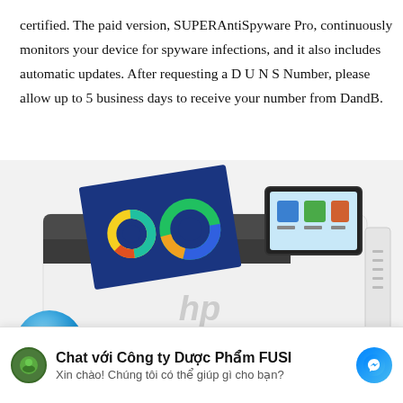certified. The paid version, SUPERAntiSpyware Pro, continuously monitors your device for spyware infections, and it also includes automatic updates. After requesting a D U N S Number, please allow up to 5 business days to receive your number from DandB.
[Figure (photo): Photo of an HP color laser printer with a document showing donut charts on the paper tray, a touchscreen control panel on top right, and a Zalo chat widget overlay on the bottom left.]
Chat với Công ty Dược Phẩm FUSI
Xin chào! Chúng tôi có thể giúp gì cho bạn?